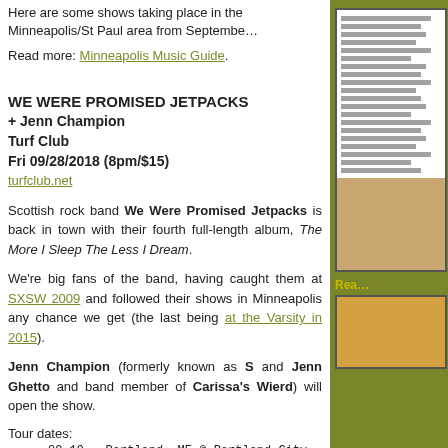Here are some shows taking place in the Minneapolis/St Paul area from September…
Read more: Minneapolis Music Guide.
WE WERE PROMISED JETPACKS
+ Jenn Champion
Turf Club
Fri 09/28/2018 (8pm/$15)
turfclub.net
Scottish rock band We Were Promised Jetpacks is back in town with their fourth full-length album, The More I Sleep The Less I Dream.
We're big fans of the band, having caught them at SXSW 2009 and followed their shows in Minneapolis any chance we get (the last being at the Varsity in 2015).
Jenn Champion (formerly known as S and Jenn Ghetto and band member of Carissa's Wierd) will open the show.
Tour dates:
09.19 - Portland, ME @ Portland City Music Hall
09.20 - Porstmouth, NH @ 3S Artspace
09.21 - Montreal, QC @ Bar Le "Ritz" P.D.B.
09.22 - Toronto, ON @ Lee's Palace
[Figure (other): Sidebar with album/event image and listing details on olive/khaki background]